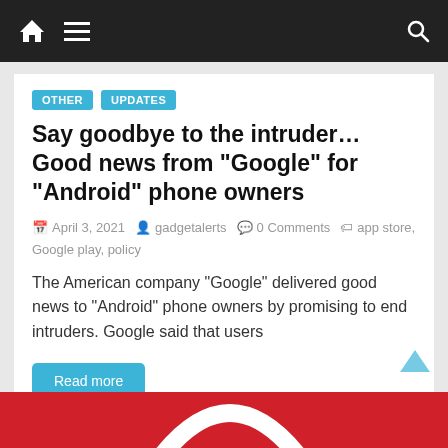Navigation bar with home, menu, and search icons
OTHER
UPDATES
Say goodbye to the intruder… Good news from “Google” for “Android” phone owners
April 3, 2021  gadgetalerts  0 Comments  app store, Google play, policy
The American company “Google” delivered good news to “Android” phone owners by promising to end intruders. Google said that users
Read more